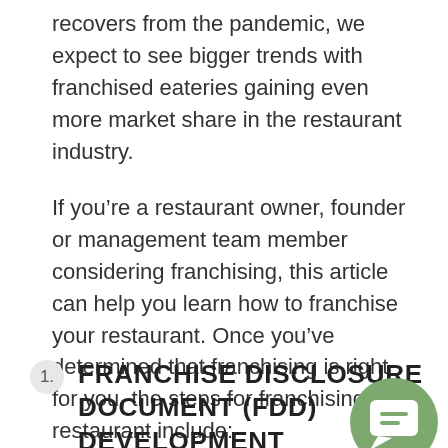recovers from the pandemic, we expect to see bigger trends with franchised eateries gaining even more market share in the restaurant industry.
If you’re a restaurant owner, founder or management team member considering franchising, this article can help you learn how to franchise your restaurant. Once you’ve determined that franchising is right for you, the steps for franchising a restaurant include:
1. FRANCHISE DISCLOSURE DOCUMENT (FDD) DEVELOPMENT